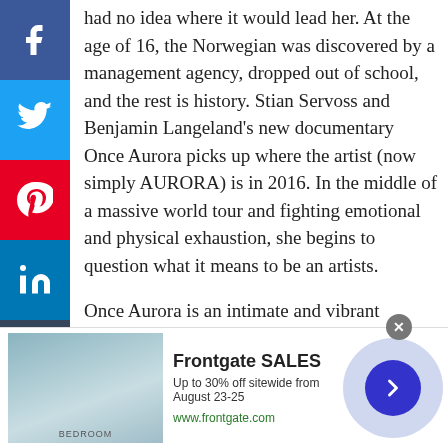[Figure (infographic): Social media share buttons sidebar: Facebook (blue), Twitter (blue), Pinterest (red), LinkedIn (blue), Tumblr (dark), Infolinks (navy)]
had no idea where it would lead her. At the age of 16, the Norwegian was discovered by a management agency, dropped out of school, and the rest is history. Stian Servoss and Benjamin Langeland's new documentary Once Aurora picks up where the artist (now simply AURORA) is in 2016. In the middle of a massive world tour and fighting emotional and physical exhaustion, she begins to question what it means to be an artists.
Once Aurora is an intimate and vibrant portrait of a popstar struggling to make sense of what's happening around her and trying to find her place in the world. Servoss and Langeland make good use of their access to the star, building up a picture of a troubled and fraught existence.
[Figure (screenshot): Advertisement banner for Frontgate SALES — Up to 30% off sitewide from August 23-25. www.frontgate.com. Shows bedroom image on left and navigation arrow button on right.]